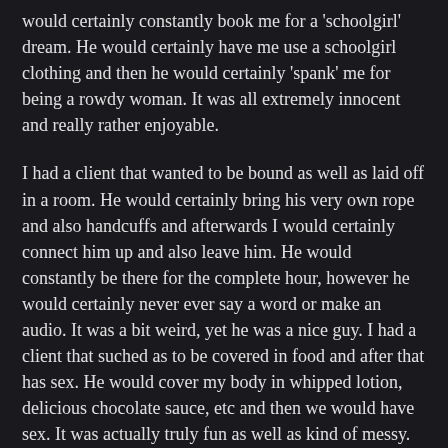would certainly constantly book me for a 'schoolgirl' dream. He would certainly have me use a schoolgirl clothing and then he would certainly 'spank' me for being a rowdy woman. It was all extremely innocent and really rather enjoyable.
I had a client that wanted to be bound as well as laid off in a room. He would certainly bring his very own rope and also handcuffs and afterwards I would certainly connect him up and also leave him. He would constantly be there for the complete hour, however he would certainly never ever say a word or make an audio. It was a bit weird, yet he was a nice guy. I had a client that suched as to be covered in food and after that has sex. He would cover my body in whipped lotion, delicious chocolate sauce, etc and then we would have sex. It was actually truly fun as well as kind of messy.